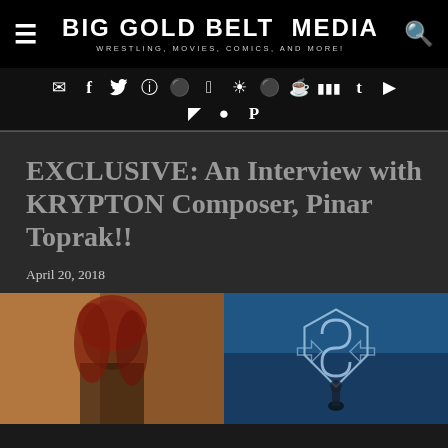Big Gold Belt Media — Wrestling, Movies, Comics, and More!
EXCLUSIVE: An Interview with KRYPTON Composer, Pinar Toprak!!
April 20, 2018
[Figure (photo): Two-panel image: left panel shows a woman with red hair, right panel shows a blue-toned scene with a Superman-style S logo and a silhouetted figure]